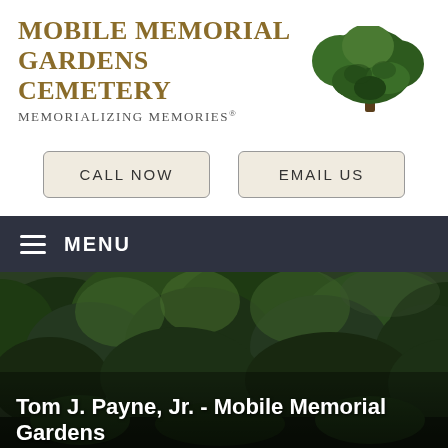[Figure (logo): Mobile Memorial Gardens Cemetery logo with tree illustration and text 'MEMORIALIZING MEMORIES']
CALL NOW
EMAIL US
≡  MENU
[Figure (photo): Aerial view of a cemetery surrounded by lush green trees]
Tom J. Payne, Jr. - Mobile Memorial Gardens